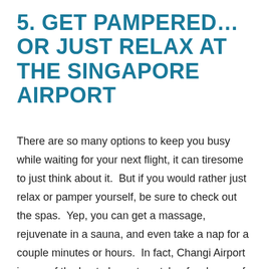5. GET PAMPERED…OR JUST RELAX AT THE SINGAPORE AIRPORT
There are so many options to keep you busy while waiting for your next flight, it can tiresome to just think about it.  But if you would rather just relax or pamper yourself, be sure to check out the spas.  Yep, you can get a massage, rejuvenate in a sauna, and even take a nap for a couple minutes or hours.  In fact, Changi Airport is one of the best places to catch a few hours of rest.  They have numerous areas where you can sleep, including mini transit hotels where you can book hourly blocks of time to sleep and take a